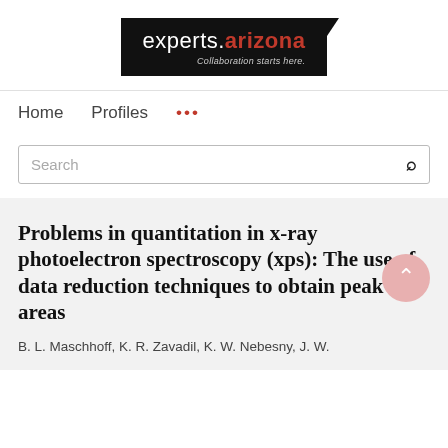[Figure (logo): experts.arizona logo — black rectangle with white 'experts.' text and red 'arizona' text, subtitle 'Collaboration starts here.']
Home   Profiles   ...
Search
Problems in quantitation in x-ray photoelectron spectroscopy (xps): The use of data reduction techniques to obtain peak areas
B. L. Maschhoff, K. R. Zavadil, K. W. Nebesny, J. W.